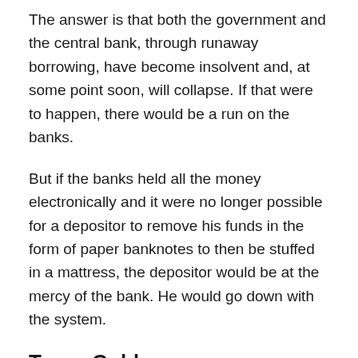The answer is that both the government and the central bank, through runaway borrowing, have become insolvent and, at some point soon, will collapse. If that were to happen, there would be a run on the banks.
But if the banks held all the money electronically and it were no longer possible for a depositor to remove his funds in the form of paper banknotes to then be stuffed in a mattress, the depositor would be at the mercy of the bank. He would go down with the system.
Texas Gold
But a new development on the horizon suggests that pushback may already have begun.
The state of Texas has passed a bill to create a gold